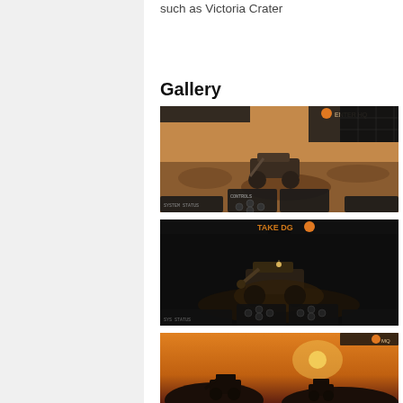such as Victoria Crater
Gallery
[Figure (screenshot): Screenshot of a Mars rover simulation game showing a rover on reddish-brown terrain with HUD/UI elements and control panels]
[Figure (screenshot): Screenshot of a Mars rover simulation game in dark/night mode showing a rover with control panels and UI elements]
[Figure (screenshot): Screenshot of a Mars rover simulation at sunset/dusk showing silhouettes of rovers against orange sky]